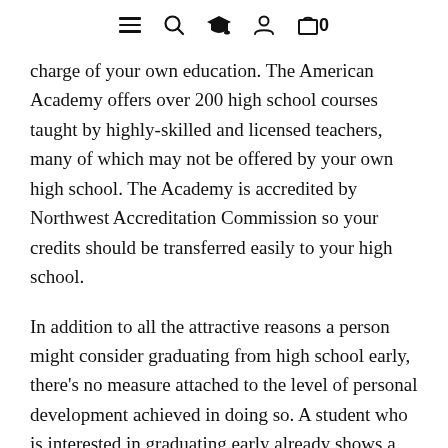[navigation icons: menu, search, graduation cap, user, cart 0]
charge of your own education. The American Academy offers over 200 high school courses taught by highly-skilled and licensed teachers, many of which may not be offered by your own high school. The Academy is accredited by Northwest Accreditation Commission so your credits should be transferred easily to your high school.
In addition to all the attractive reasons a person might consider graduating from high school early, there's no measure attached to the level of personal development achieved in doing so. A student who is interested in graduating early already shows a certain level of ambition and responsibility. By proactively seeking and commanding opportunities in his or her educational career, and going after specific goals, early graduates learn discipline and